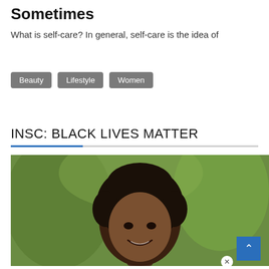Sometimes
What is self-care? In general, self-care is the idea of
Beauty
Lifestyle
Women
INSC: BLACK LIVES MATTER
[Figure (photo): Close-up photo of a smiling Black woman with natural hair, shown from forehead to chin, against a blurred green outdoor background. Overlaid metadata shows: Nabeel Ahmad, March 26, 2022, 0 comments.]